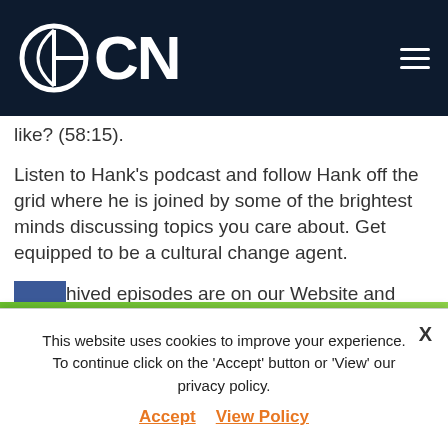OCN
like? (58:15).
Listen to Hank's podcast and follow Hank off the grid where he is joined by some of the brightest minds discussing topics you care about. Get equipped to be a cultural change agent.
Archived episodes are on our Website and available at the additional channels listed below.
You can help spread the word about Hank Unplugged by giving us a rating and review from the other channels we are listed on.
This website uses cookies to improve your experience. To continue click on the 'Accept' button or 'View' our privacy policy.
Accept   View Policy